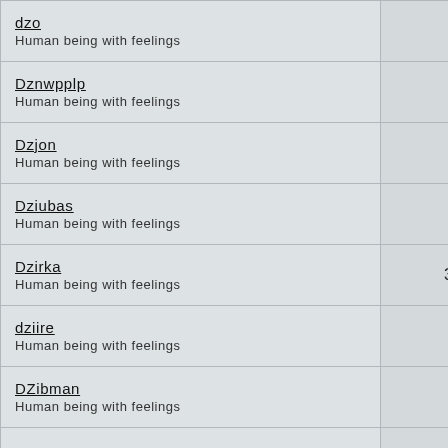| Name / Description | Count |
| --- | --- |
| dzo
Human being with feelings | 0 |
| Dznwpplp
Human being with feelings | 0 |
| Dzjon
Human being with feelings | 1 |
| Dziubas
Human being with feelings | 0 |
| Dzirka
Human being with feelings | 309 |
| dziire
Human being with feelings | 0 |
| DZibman
Human being with feelings | 11 |
| dziadek1
Human being with feelings | 0 |